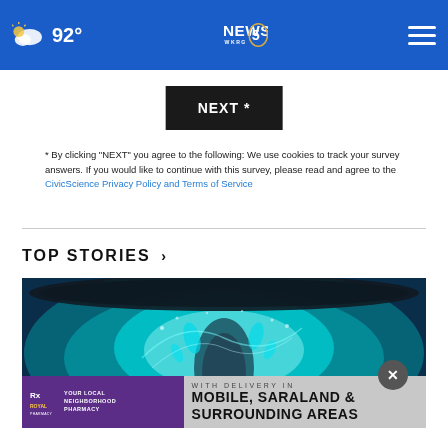92° NEWS 5 WKRG
NEXT *
* By clicking "NEXT" you agree to the following: We use cookies to track your survey answers. If you would like to continue with this survey, please read and agree to the CivicScience Privacy Policy and Terms of Service
TOP STORIES ›
[Figure (photo): Close-up photo of swirling cyan/teal water splashing inside a dark container]
[Figure (infographic): Royal Pharmacy advertisement banner: YOUR LOCAL NEIGHBORHOOD PHARMACY WITH DELIVERY IN MOBILE, SARALAND & SURROUNDING AREAS]